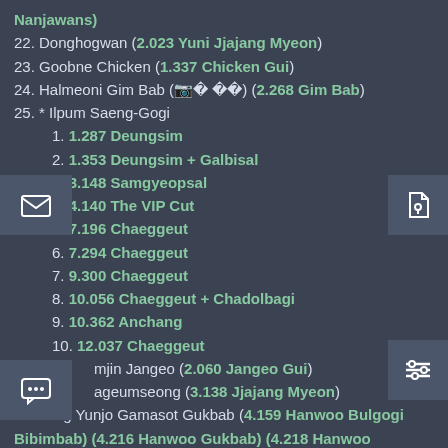Nanjawans)
22. Donghogwan (2.023 Yuni Jjajang Myeon)
23. Goobne Chicken (1.337 Chicken Gui)
24. Halmeoni Gim Bab (할머니 김밥) (2.268 Gim Bab)
25. * Ilpum Saeng-Gogi
1. 1.287 Deungsim
2. 1.353 Deungsim + Galbisal
3. 3.148 Samgyeopsal
4. 4.140 The VIP Cut
5. 7.196 Chaeggeut
6. 7.294 Chaeggeut
7. 9.300 Chaeggeut
8. 10.056 Chaeggeut + Chadolbagi
9. 10.362 Anchang
10. 12.037 Chaeggeut
mjin Jangeo (2.060 Jangeo Gui)
ageumseong (3.138 Jjajang Myeon)
28. Jang Yunjo Gamasot Gukbab (4.159 Hanwoo Bulgogi Bibimbab) (4.216 Hanwoo Gukbab) (4.218 Hanwoo